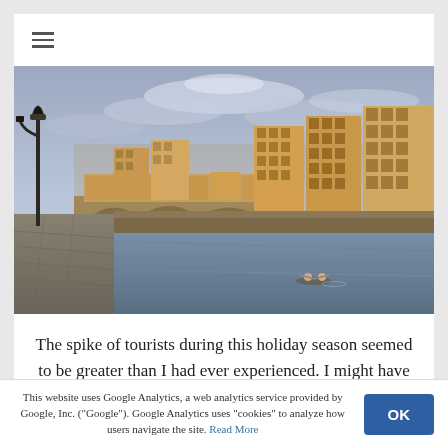≡
[Figure (photo): View of the Ponte Vecchio bridge over the Arno River in Florence, Italy. Colorful historic buildings line the far bank. Overcast sky with clouds. A lamppost is visible on the left. Two people in a kayak on the river.]
The spike of tourists during this holiday season seemed to be greater than I had ever experienced. I might have also noticed it more because I was walking around Florence much of the
This website uses Google Analytics, a web analytics service provided by Google, Inc. ("Google"). Google Analytics uses "cookies" to analyze how users navigate the site. Read More